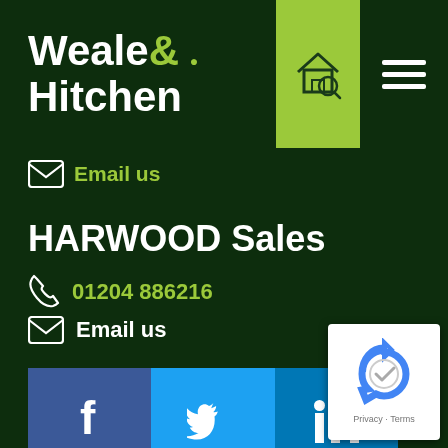Weale & Hitchen
Email us
HARWOOD Sales
01204 886216
Email us
[Figure (logo): Social media buttons: Facebook, Twitter, LinkedIn]
[Figure (logo): Google reCAPTCHA badge with Privacy and Terms text]